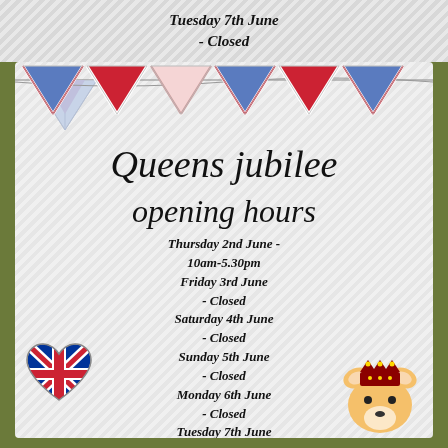Tuesday 7th June
- Closed
[Figure (illustration): Colourful bunting triangles in red, white and blue Union Jack pattern strung across the top of the card]
Queens jubilee
opening hours
[Figure (illustration): Union Jack heart shape illustration on the left side]
[Figure (illustration): Corgi dog wearing a crown illustration on the right side]
Thursday 2nd June - 10am-5.30pm
Friday 3rd June - Closed
Saturday 4th June - Closed
Sunday 5th June - Closed
Monday 6th June - Closed
Tuesday 7th June - Closed